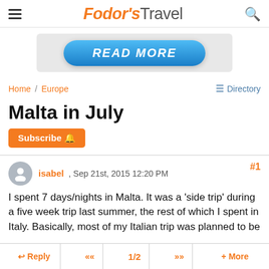Fodor's Travel
[Figure (screenshot): READ MORE button advertisement banner, blue pill-shaped button on grey background]
Home / Europe
Malta in July
Subscribe
isabel , Sep 21st, 2015 12:20 PM  #1
I spent 7 days/nights in Malta. It was a 'side trip' during a five week trip last summer, the rest of which I spent in Italy. Basically, most of my Italian trip was planned to be
Reply  <<  1/2  >>  + More